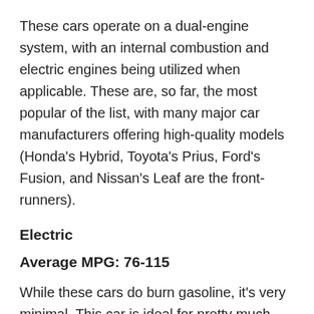These cars operate on a dual-engine system, with an internal combustion and electric engines being utilized when applicable. These are, so far, the most popular of the list, with many major car manufacturers offering high-quality models (Honda's Hybrid, Toyota's Prius, Ford's Fusion, and Nissan's Leaf are the front-runners).
Electric
Average MPG: 76-115
While these cars do burn gasoline, it's very minimal. This car is ideal for pretty much anything but long commutes or road trips. The cost isn't terribly high, and when you factor in the cost of gas that doesn't get purchased, it's hard to argue against this one.